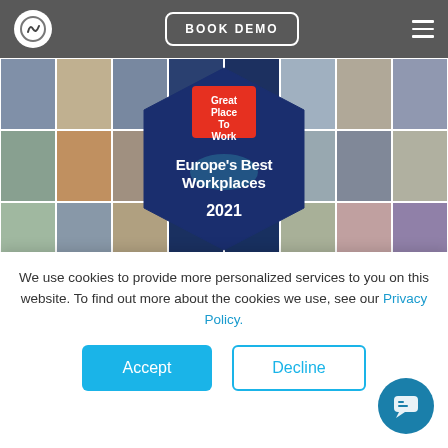BOOK DEMO
[Figure (photo): Group photo grid of FotoWare employees with 'Great Place To Work Europe's Best Workplaces 2021' hexagon badge overlay]
For the second year in a row, FotoWare was recognized in the Great Place to Work Europe award. This time, we were
We use cookies to provide more personalized services to you on this website. To find out more about the cookies we use, see our Privacy Policy.